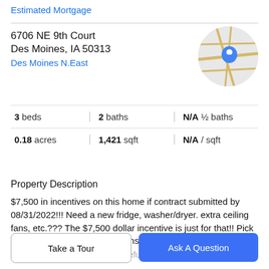Estimated Mortgage
6706 NE 9th Court
Des Moines, IA 50313
Des Moines N.East
[Figure (map): Circular map thumbnail showing street map with a blue location pin marker]
| 3 beds | 2 baths | N/A ½ baths |
| 0.18 acres | 1,421 sqft | N/A / sqft |
Property Description
$7,500 in incentives on this home if contract submitted by 08/31/2022!!! Need a new fridge, washer/dryer. extra ceiling fans, etc.??? The $7,500 dollar incentive is just for that!! Pick from a wide variety of selections to help spice
up your new home!! Enjoy peacefulness and countryside
Take a Tour
Ask A Question